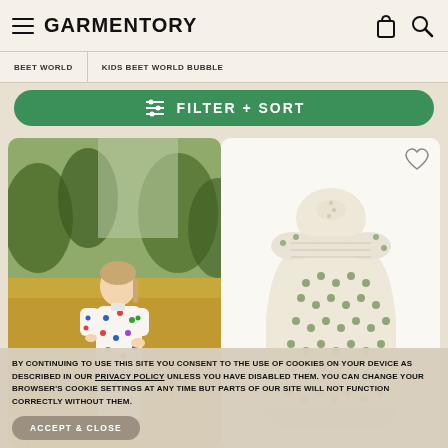GARMENTORY
BEET WORLD
KIDS BEET WORLD BUBBLE
FILTER + SORT
[Figure (photo): Child in a white polka dot dress standing in a golden field of tall grass]
[Figure (photo): Light-colored polka dot children's dress on white background with heart/wishlist icon]
BY CONTINUING TO USE THIS SITE YOU CONSENT TO THE USE OF COOKIES ON YOUR DEVICE AS DESCRIBED IN OUR PRIVACY POLICY UNLESS YOU HAVE DISABLED THEM. YOU CAN CHANGE YOUR BROWSER'S COOKIE SETTINGS AT ANY TIME BUT PARTS OF OUR SITE WILL NOT FUNCTION CORRECTLY WITHOUT THEM.
ACCEPT & CLOSE